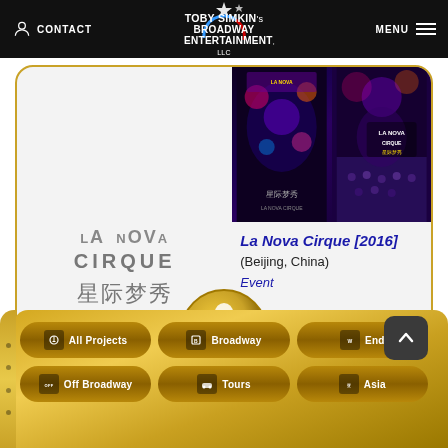CONTACT | TOBY SIMKIN's BROADWAY ENTERTAINMENT, LLC | MENU
[Figure (logo): La Nova Cirque logo with Latin text and Chinese characters 星际梦秀]
[Figure (photo): Two side-by-side photos of La Nova Cirque 2016 show - poster image and live performance with audience]
La Nova Cirque [2016]
(Beijing, China)
Event
[Figure (logo): Golden circular logo with silhouette of a seated person/figure on gold background - Toby Simkin Broadway Entertainment logo]
All Projects
Broadway
End
Off Broadway
Tours
Asia